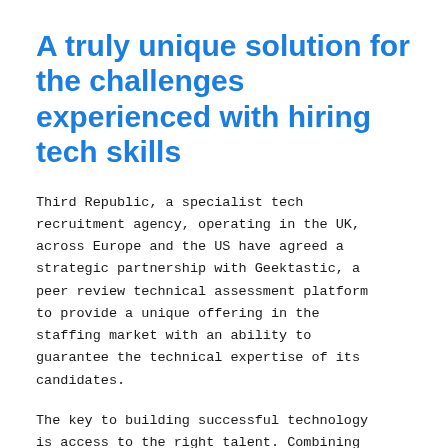A truly unique solution for the challenges experienced with hiring tech skills
Third Republic, a specialist tech recruitment agency, operating in the UK, across Europe and the US have agreed a strategic partnership with Geektastic, a peer review technical assessment platform to provide a unique offering in the staffing market with an ability to guarantee the technical expertise of its candidates.
The key to building successful technology is access to the right talent. Combining an ability to source passive, offline...